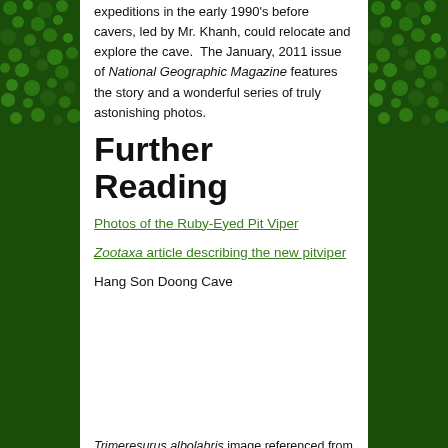expeditions in the early 1990's before cavers, led by Mr. Khanh, could relocate and explore the cave. The January, 2011 issue of National Geographic Magazine features the story and a wonderful series of truly astonishing photos.
Further Reading
Photos of the Ruby-Eyed Pit Viper
Zootaxa article describing the new pitviper
Hang Son Doong Cave
Trimeresurus albolabris image referenced from wikipedia and originally posted by DJatmiko